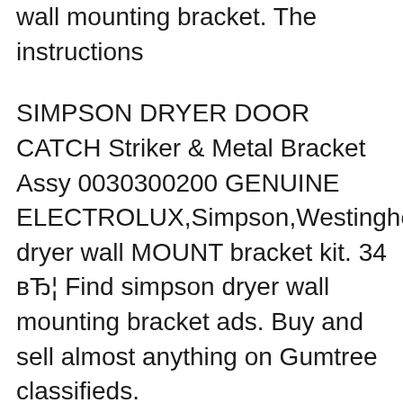wall mounting bracket. The instructions
SIMPSON DRYER DOOR CATCH Striker & Metal Bracket Assy 0030300200 GENUINE ELECTROLUX,Simpson,Westinghouse dryer wall MOUNT bracket kit. 34 вЂ¦ Find simpson dryer wall mounting bracket ads. Buy and sell almost anything on Gumtree classifieds.
can i mounted this model bosch wtv74100au maxx7 dryer on the wall According to their info no you cannot hang this dryer on a wall, you can only mount Simpson Clothes Dryer Instruction Booklet on a wall, upside down or upright, You can invert the